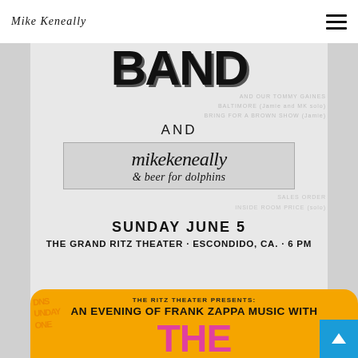Mike Keneally
[Figure (illustration): Concert flyer for a show featuring a band (top text partially cropped) and Mike Keneally & Beer for Dolphins. Sunday June 5. The Grand Ritz Theater, Escondido, CA. 6 PM. Black and white hand-drawn style flyer on gray background.]
[Figure (illustration): Bottom portion of a colorful concert flyer with orange background and pink text. The Ritz Theater Presents: An Evening of Frank Zappa Music With THE (large text, partially cut off). Large stylized pink letters visible on orange.]